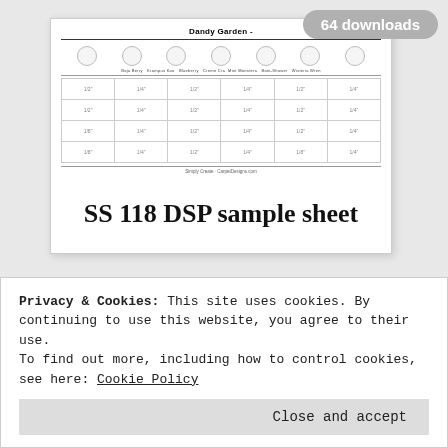[Figure (other): Preview thumbnail of a DSP sample sheet document titled 'Dandy Garden' with circles at the top and a grid of sample cells below, with column labels for various colors/names]
SS 118 DSP sample sheet
Privacy & Cookies: This site uses cookies. By continuing to use this website, you agree to their use.
To find out more, including how to control cookies, see here: Cookie Policy
Close and accept